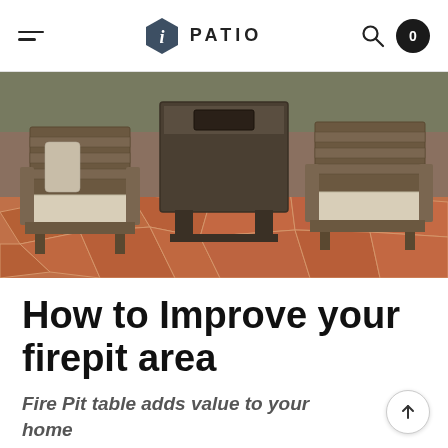iPATIO
[Figure (photo): Outdoor patio furniture scene showing wooden armchairs with light cushions arranged around a square fire pit table on a terracotta flagstone patio.]
How to Improve your firepit area
Fire Pit table adds value to your home